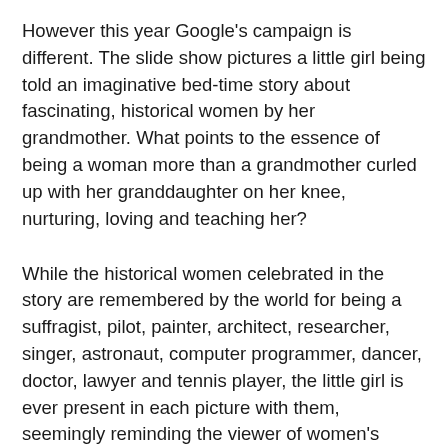However this year Google's campaign is different. The slide show pictures a little girl being told an imaginative bed-time story about fascinating, historical women by her grandmother. What points to the essence of being a woman more than a grandmother curled up with her granddaughter on her knee, nurturing, loving and teaching her?
While the historical women celebrated in the story are remembered by the world for being a suffragist, pilot, painter, architect, researcher, singer, astronaut, computer programmer, dancer, doctor, lawyer and tennis player, the little girl is ever present in each picture with them, seemingly reminding the viewer of women's unique role as the bearer of new life and the ever-present role motherhood plays alongside whatever each woman has also contributed to the economy or human endeavor in the eyes of the outside world. The little girl's presence in each frame can be seen to